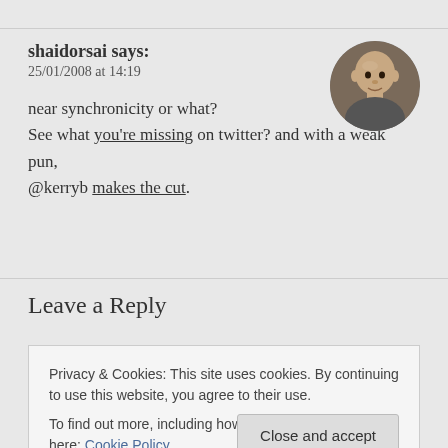shaidorsai says:
25/01/2008 at 14:19
near synchronicity or what? See what you're missing on twitter? and with a weak pun, @kerryb makes the cut.
Leave a Reply
Privacy & Cookies: This site uses cookies. By continuing to use this website, you agree to their use. To find out more, including how to control cookies, see here: Cookie Policy